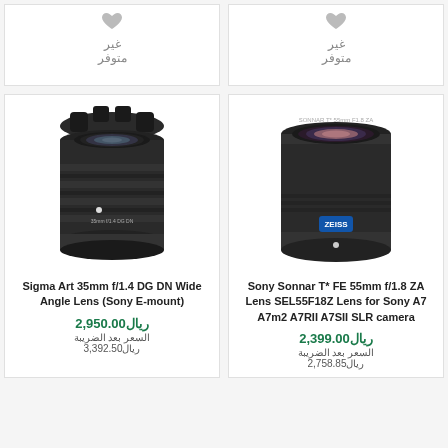[Figure (other): Partial product card top row left - unavailable item with heart icon and Arabic text متوفر غير]
[Figure (other): Partial product card top row right - unavailable item with heart icon and Arabic text متوفر غير]
[Figure (photo): Sigma Art 35mm f/1.4 DG DN Wide Angle Lens (Sony E-mount) product photo - black camera lens]
Sigma Art 35mm f/1.4 DG DN Wide Angle Lens (Sony E-mount)
ريال2,950.00
السعر بعد الضريبة
ريال3,392.50
[Figure (photo): Sony Sonnar T* FE 55mm f/1.8 ZA Lens SEL55F18Z product photo - black camera lens with blue Zeiss badge]
Sony Sonnar T* FE 55mm f/1.8 ZA Lens SEL55F18Z Lens for Sony A7 A7m2 A7RII A7SII SLR camera
ريال2,399.00
السعر بعد الضريبة
ريال2,758.85